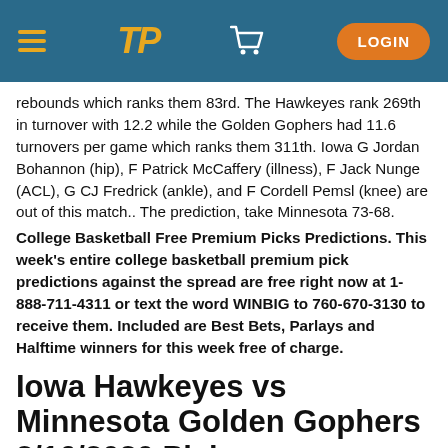TP navigation bar with hamburger menu, TP logo, cart icon, and LOGIN button
rebounds which ranks them 83rd. The Hawkeyes rank 269th in turnover with 12.2 while the Golden Gophers had 11.6 turnovers per game which ranks them 311th. Iowa G Jordan Bohannon (hip), F Patrick McCaffery (illness), F Jack Nunge (ACL), G CJ Fredrick (ankle), and F Cordell Pemsl (knee) are out of this match.. The prediction, take Minnesota 73-68.
College Basketball Free Premium Picks Predictions. This week's entire college basketball premium pick predictions against the spread are free right now at 1-888-711-4311 or text the word WINBIG to 760-670-3130 to receive them. Included are Best Bets, Parlays and Halftime winners for this week free of charge.
Iowa Hawkeyes vs Minnesota Golden Gophers 2/16/2020 Picks